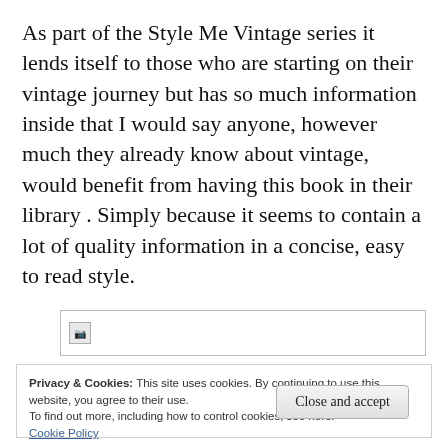As part of the Style Me Vintage series it lends itself to those who are starting on their vintage journey but has so much information inside that I would say anyone, however much they already know about vintage, would benefit from having this book in their library . Simply because it seems to contain a lot of quality information in a concise, easy to read style.
[Figure (other): Broken image placeholder with small broken image icon on left side inside a bordered rectangle]
Privacy & Cookies: This site uses cookies. By continuing to use this website, you agree to their use.
To find out more, including how to control cookies, see here: Cookie Policy
Close and accept